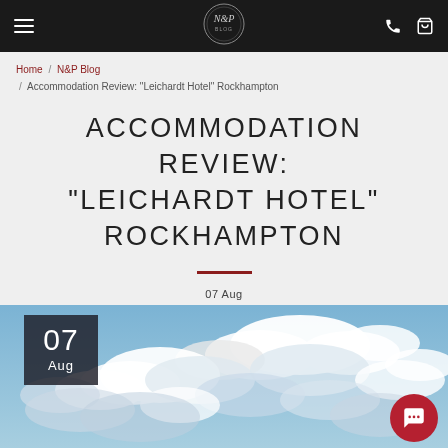Navigation bar with menu, logo, phone, and cart icons
Home / N&P Blog / Accommodation Review: "Leichardt Hotel" Rockhampton
ACCOMMODATION REVIEW: "LEICHARDT HOTEL" ROCKHAMPTON
07 Aug
[Figure (photo): Sky with white clouds, date badge showing 07 Aug in top-left corner, red chat button in bottom-right corner]